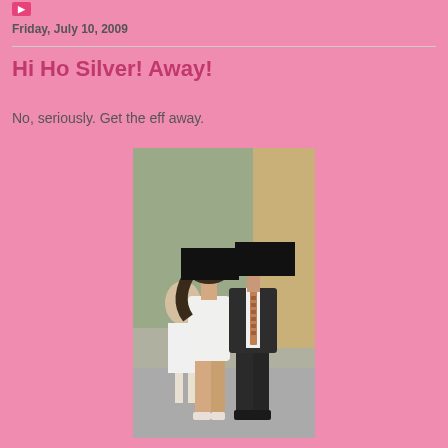Friday, July 10, 2009
Hi Ho Silver! Away!
No, seriously. Get the eff away.
[Figure (photo): A couple walking together outdoors — a woman in a short white dress and heels, and a man in a dark suit with a striped tie. Both faces are obscured with black rectangles.]